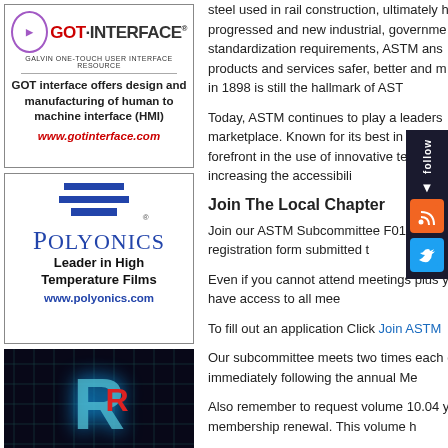[Figure (logo): GOT Interface ad: logo with circle, red and black text 'GOT-INTERFACE', tagline 'GALVIN ONE-TOUCH USER INTERFACE RESOURCE', description text about design and manufacturing of HMI, website www.gotinterface.com]
[Figure (logo): Polyonics ad: blue chevron logo, 'POLYONICS' in blue serif font, 'Leader in High Temperature Films', website www.polyonics.com]
[Figure (logo): ALMAX-RP ad: dark circuit board background with glowing R letter and red accent, ALMAX-RP text in red]
steel used in rail construction, ultimately h... progressed and new industrial, governme... standardization requirements, ASTM ans... products and services safer, better and m... started in 1898 is still the hallmark of AST...
Today, ASTM continues to play a leaders... marketplace. Known for its best in class p... the forefront in the use of innovative tec... while also increasing the accessibili...
Join The Local Chapter
Join our ASTM Subcommittee F01.... simple registration form submitted t...
Even if you cannot attend meetings... plus you will have access to all mee...
To fill out an application Click Join ASTM...
Our subcommittee meets two times each... days immediately following the annual Me...
Also remember to request volume 10.04 ... your membership renewal. This volume h...